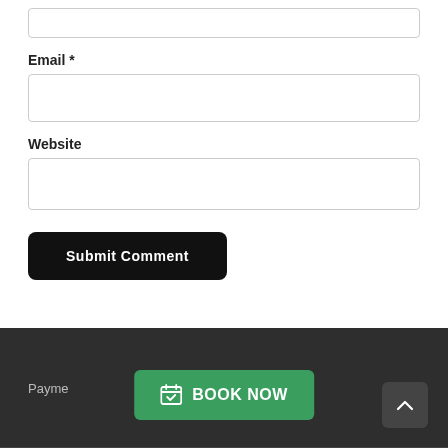[input box — top partial]
Email *
[email input field]
Website
[website input field]
Submit Comment
Payme...
BOOK NOW
↑